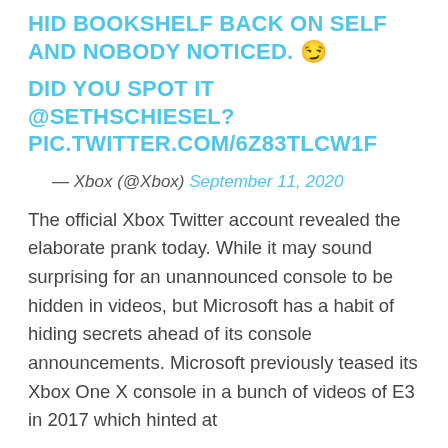HID BOOKSHELF BACK ON SELF AND NOBODY NOTICED. 😏
DID YOU SPOT IT @SETHSCHIESEL? PIC.TWITTER.COM/6Z83TLCW1F
— Xbox (@Xbox) September 11, 2020
The official Xbox Twitter account revealed the elaborate prank today. While it may sound surprising for an unannounced console to be hidden in videos, but Microsoft has a habit of hiding secrets ahead of its console announcements. Microsoft previously teased its Xbox One X console in a bunch of videos of E3 in 2017 which hinted at